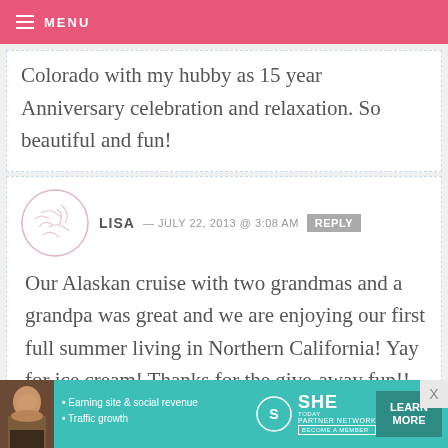MENU
Colorado with my hubby as 15 year Anniversary celebration and relaxation. So beautiful and fun!
LISA — JULY 22, 2013 @ 3:08 AM   REPLY
Our Alaskan cruise with two grandmas and a grandpa was great and we are enjoying our first full summer living in Northern California! Yay for ice cream! Thanks for the give-away fun!!
[Figure (infographic): SHE Partner Network advertisement banner with photo of a woman, bullet points about earning site & social revenue and traffic growth, SHE logo, and a Learn More button]